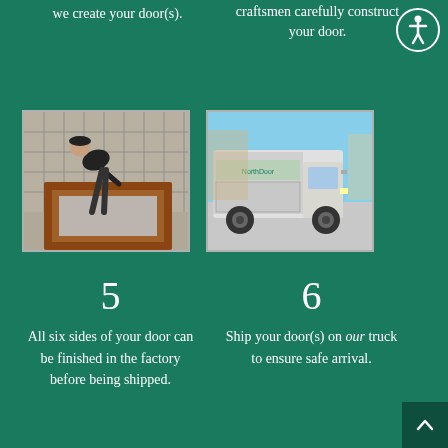we create your door(s).
craftsmen carefully construct your door.
[Figure (photo): Craftsman working on a wooden door frame in a workshop]
[Figure (photo): A delivery truck with the company logo parked outside]
5
All six sides of your door can be finished in the factory before being shipped.
6
Ship your door(s) on our truck to ensure safe arrival.